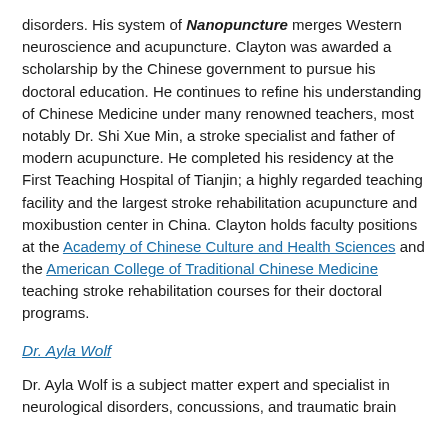disorders. His system of Nanopuncture merges Western neuroscience and acupuncture. Clayton was awarded a scholarship by the Chinese government to pursue his doctoral education. He continues to refine his understanding of Chinese Medicine under many renowned teachers, most notably Dr. Shi Xue Min, a stroke specialist and father of modern acupuncture. He completed his residency at the First Teaching Hospital of Tianjin; a highly regarded teaching facility and the largest stroke rehabilitation acupuncture and moxibustion center in China. Clayton holds faculty positions at the Academy of Chinese Culture and Health Sciences and the American College of Traditional Chinese Medicine teaching stroke rehabilitation courses for their doctoral programs.
Dr. Ayla Wolf
Dr. Ayla Wolf is a subject matter expert and specialist in neurological disorders, concussions, and traumatic brain